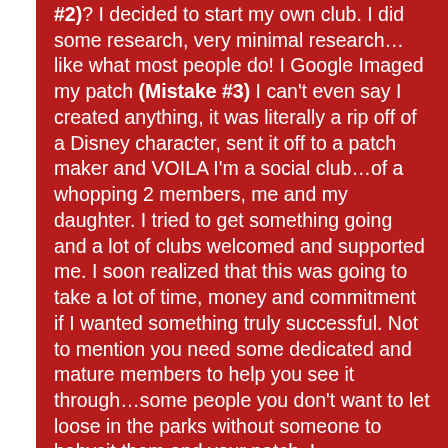(Mistake #2)? I decided to start my own club. I did some research, very minimal research…like what most people do! I Google Imaged my patch (Mistake #3) I can't even say I created anything, it was literally a rip off of a Disney character, sent it off to a patch maker and VOILA I'm a social club…of a whopping 2 members, me and my daughter. I tried to get something going and a lot of clubs welcomed and supported me. I soon realized that this was going to take a lot of time, money and commitment if I wanted something truly successful. Not to mention you need some dedicated and mature members to help you see it through…some people you don't want to let loose in the parks without someone to babysit them and your patch. I